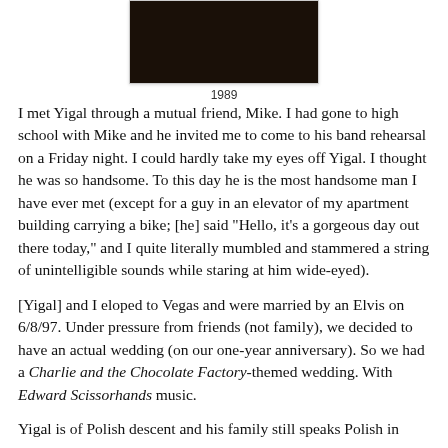[Figure (photo): A dark portrait photograph of a person, partially visible at the top of the page, labeled 1989.]
1989
I met Yigal through a mutual friend, Mike. I had gone to high school with Mike and he invited me to come to his band rehearsal on a Friday night. I could hardly take my eyes off Yigal. I thought he was so handsome. To this day he is the most handsome man I have ever met (except for a guy in an elevator of my apartment building carrying a bike; [he] said “Hello, it’s a gorgeous day out there today,” and I quite literally mumbled and stammered a string of unintelligible sounds while staring at him wide-eyed).
[Yigal] and I eloped to Vegas and were married by an Elvis on 6/8/97. Under pressure from friends (not family), we decided to have an actual wedding (on our one-year anniversary). So we had a Charlie and the Chocolate Factory-themed wedding. With Edward Scissorhands music.
Yigal is of Polish descent and his family still speaks Polish in